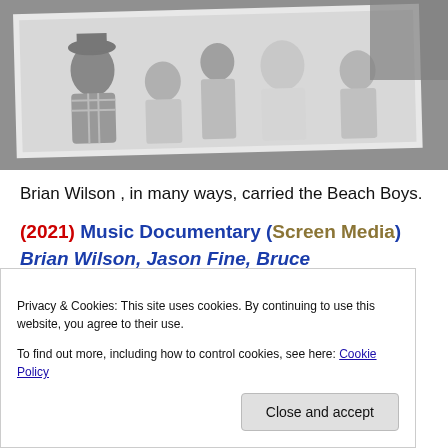[Figure (photo): Black and white group photo of several young men, one wearing a plaid shirt and hat, others casually dressed, framed photo style with slight tilt]
Brian Wilson , in many ways, carried the Beach Boys.
(2021) Music Documentary (Screen Media) Brian Wilson, Jason Fine, Bruce Springsteen, Elton John, Linda Perry, Gustavo Dudamel, Don Was, Steven
Privacy & Cookies: This site uses cookies. By continuing to use this website, you agree to their use.
To find out more, including how to control cookies, see here: Cookie Policy
Close and accept